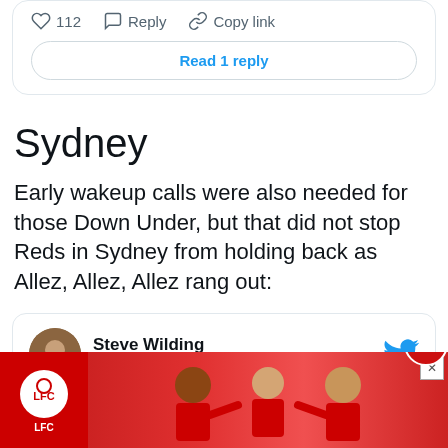[Figure (screenshot): Top portion of a Twitter/X embedded tweet card showing action icons: heart icon with count 112, Reply button, Copy link button, and a 'Read 1 reply' button]
Sydney
Early wakeup calls were also needed for those Down Under, but that did not stop Reds in Sydney from holding back as Allez, Allez, Allez rang out:
[Figure (screenshot): Embedded tweet from Steve Wilding (@SteveWilding7) with a Follow button and Twitter/X bird logo]
[Figure (screenshot): Liverpool FC advertisement banner at the bottom showing three players in red LFC kits with LFC logo and close buttons]